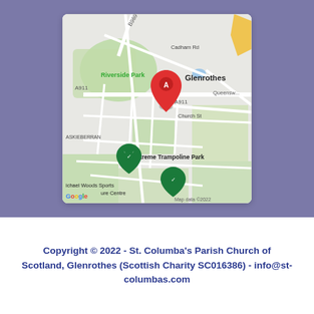[Figure (map): Google Maps screenshot showing Glenrothes area with a red marker A near Riverside Park, and green markers for Xtreme Trampoline Park and Michael Woods Sports Centre. Roads including A911, B969, Cadham Rd, Church St, Queensway visible. Map data ©2022.]
Copyright © 2022 - St. Columba's Parish Church of Scotland, Glenrothes (Scottish Charity SC016386) - info@st-columbas.com